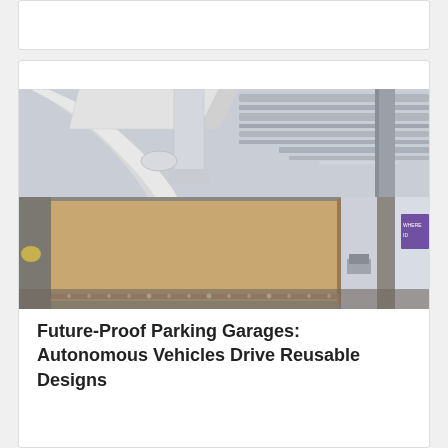[Figure (photo): Interior architectural photo showing a parking garage or commercial building interior with exposed ductwork and utility pipes on the ceiling, a wood-paneled or cork-textured wall/partition element with warm LED accent lighting along the bottom edge, and an open office area visible in the background with purple signage reading 'WHERE ID']
Future-Proof Parking Garages: Autonomous Vehicles Drive Reusable Designs